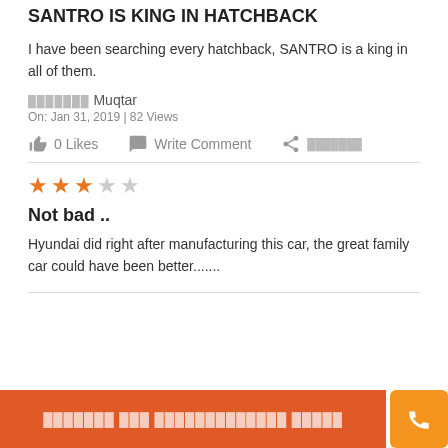SANTRO IS KING IN HATCHBACK
I have been searching every hatchback, SANTRO is a king in all of them.
?????? Muqtar
On: Jan 31, 2019 | 82 Views
0 Likes   Write Comment   ???????
★★★☆☆
Not bad ..
Hyundai did right after manufacturing this car, the great family car could have been better.......
??????? ??? ????????????? ?????